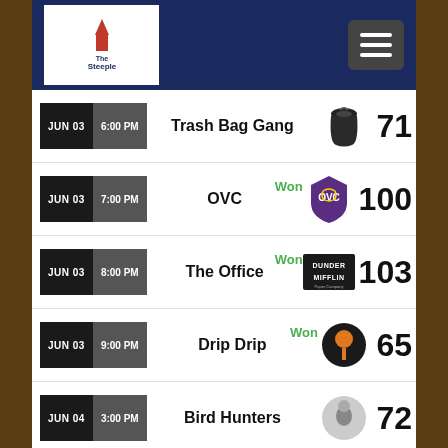Steeple Center - Basketball Schedule
JUN 03 | 6:00 PM | Trash Bag Gang | 71
JUN 03 | 7:00 PM | OVC | Won | 100
JUN 03 | 8:00 PM | The Office | Won | 103
JUN 03 | 9:00 PM | Drip Drip | Won | 65
JUN 04 | 3:00 PM | Bird Hunters | 72